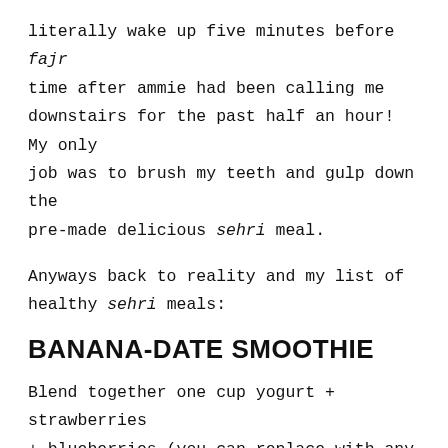literally wake up five minutes before fajr time after ammie had been calling me downstairs for the past half an hour! My only job was to brush my teeth and gulp down the pre-made delicious sehri meal.
Anyways back to reality and my list of healthy sehri meals:
BANANA-DATE SMOOTHIE
Blend together one cup yogurt + strawberries + blueberries (you can replace with any fruit you like) + 2 cups almond milk + 1 cup quick oats + 3 dates + 1 banana + 1 tablespoon hemp